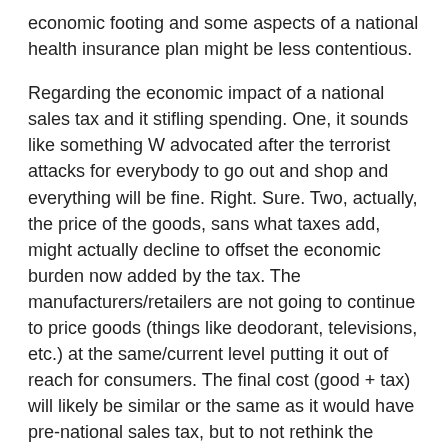economic footing and some aspects of a national health insurance plan might be less contentious.
Regarding the economic impact of a national sales tax and it stifling spending. One, it sounds like something W advocated after the terrorist attacks for everybody to go out and shop and everything will be fine. Right. Sure. Two, actually, the price of the goods, sans what taxes add, might actually decline to offset the economic burden now added by the tax. The manufacturers/retailers are not going to continue to price goods (things like deodorant, televisions, etc.) at the same/current level putting it out of reach for consumers. The final cost (good + tax) will likely be similar or the same as it would have pre-national sales tax, but to not rethink the pricing in the wake of such a tax would have too big an impact on their revenues. The exception might be something similar to gasoline where there really aren't current viable alternatives for nearly all consumers. Three, the majority of spending would continue to be driven by the upper middle class and wealthy, therefore I wonder how significant the economic impact would actually be. Keep in mind had everyone lived within their means (all income levels), we wouldn't be in much of the economic trouble in which we currently find ourselves. The stimulus was poorly conceived and poorly executed. It, like the